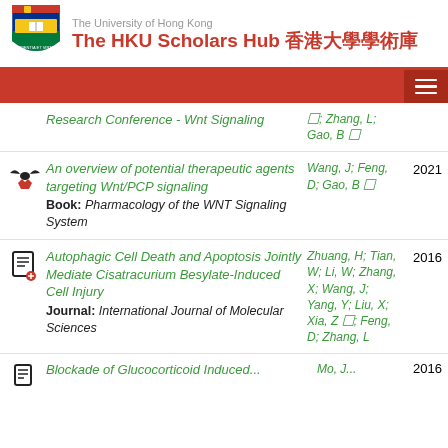The University of Hong Kong — The HKU Scholars Hub 香港大學學術庫
Research Conference - Wnt Signaling | Zhang, L; Gao, B
An overview of potential therapeutic agents targeting Wnt/PCP signaling | Book: Pharmacology of the WNT Signaling System | Wang, J; Feng, D; Gao, B | 2021
Autophagic Cell Death and Apoptosis Jointly Mediate Cisatracurium Besylate-Induced Cell Injury | Journal: International Journal of Molecular Sciences | Zhuang, H; Tian, W; Li, W; Zhang, X; Wang, J; Yang, Y; Liu, X; Xia, Z; Feng, D; Zhang, L | 2016
Blockade of Glucocorticoid Induced... | Mo, J... | 2016